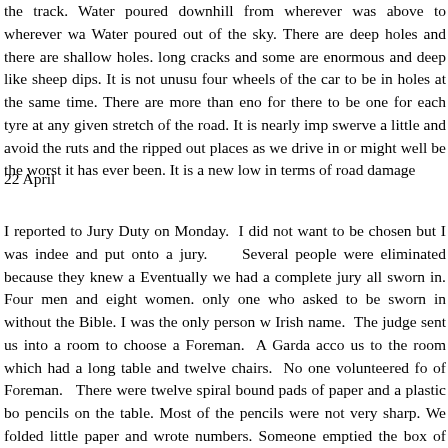the track. Water poured downhill from wherever was above to wherever wa Water poured out of the sky. There are deep holes and there are shallow holes. long cracks and some are enormous and deep like sheep dips. It is not unusu four wheels of the car to be in holes at the same time. There are more than eno for there to be one for each tyre at any given stretch of the road. It is nearly imp swerve a little and avoid the ruts and the ripped out places as we drive in or might well be the worst it has ever been. It is a new low in terms of road damage
22 April
I reported to Jury Duty on Monday. I did not want to be chosen but I was indee and put onto a jury. Several people were eliminated because they knew a Eventually we had a complete jury all sworn in. Four men and eight women. only one who asked to be sworn in without the Bible. I was the only person w Irish name. The judge sent us into a room to choose a Foreman. A Garda acco us to the room which had a long table and twelve chairs. No one volunteered fo of Foreman. There were twelve spiral bound pads of paper and a plastic bo pencils on the table. Most of the pencils were not very sharp. We folded little paper and wrote numbers. Someone emptied the box of pencils and we put the into the box and a woman picked a number. The woman who was that numb order around the table shrieked and said she just could not do it. Another nur